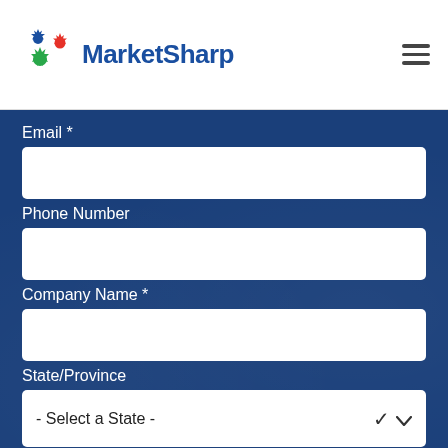MarketSharp
Email *
Phone Number
Company Name *
State/Province
- Select a State -